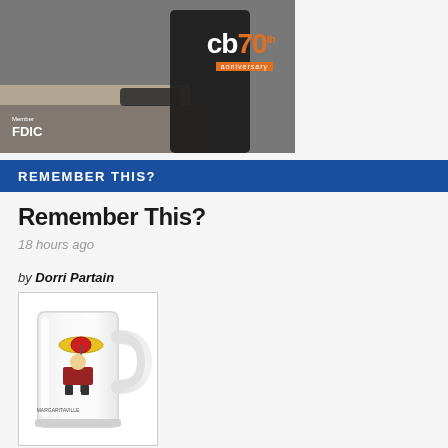[Figure (photo): Bank advertisement banner showing cb 70th anniversary logo with person at table, Member FDIC badge]
REMEMBER THIS?
Remember This?
18 hours ago
by Dorri Partain
[Figure (photo): Frosted glass beer mug with cartoon character holding umbrella illustration]